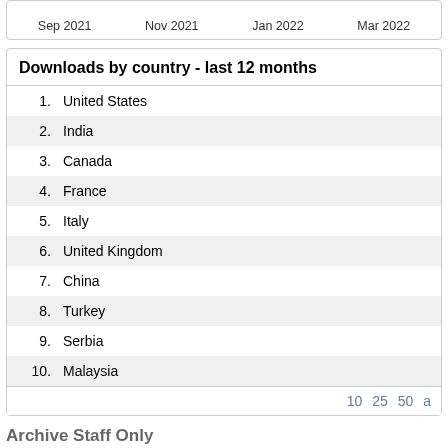[Figure (continuous-plot): Top portion of a time-series chart showing x-axis labels: Sep 2021, Nov 2021, Jan 2022, Mar 2022]
Downloads by country - last 12 months
1. United States
2. India
3. Canada
4. France
5. Italy
6. United Kingdom
7. China
8. Turkey
9. Serbia
10. Malaysia
10 25 50 a
Archive Staff Only
View Item